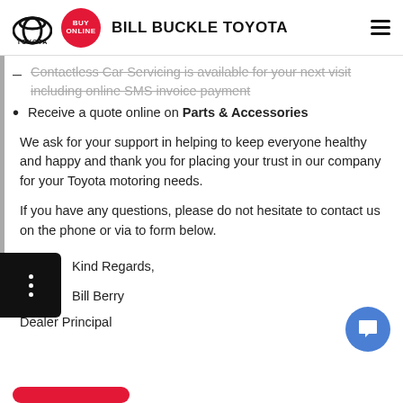BILL BUCKLE TOYOTA
Contactless Car Servicing is available for your next visit including online SMS invoice payment
Receive a quote online on Parts & Accessories
We ask for your support in helping to keep everyone healthy and happy and thank you for placing your trust in our company for your Toyota motoring needs.
If you have any questions, please do not hesitate to contact us on the phone or via to form below.
Kind Regards,

Bill Berry

Dealer Principal